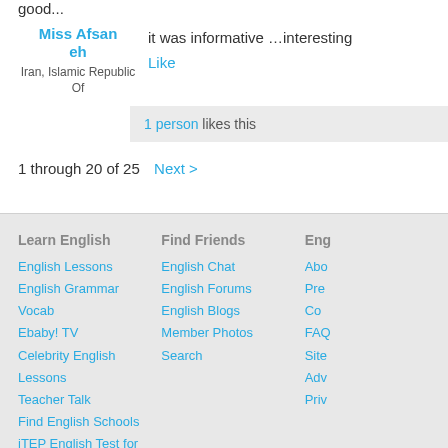good...
Miss Afsaneh
it was informative …interesting
Iran, Islamic Republic Of
Like
1 person likes this
1 through 20 of 25   Next >
Learn English
English Lessons
English Grammar
Vocab
Ebaby! TV
Celebrity English Lessons
Teacher Talk
Find English Schools
iTEP English Test for Admissions
Find Friends
English Chat
English Forums
English Blogs
Member Photos
Search
Eng...
Abo...
Pre...
Co...
FAQ...
Site...
Adv...
Priv...
To inquire about partnerships